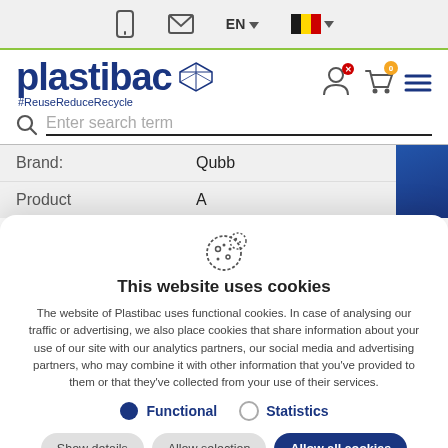[Figure (screenshot): Top navigation bar with mobile icon, email icon, EN language selector with dropdown, and Belgian flag with dropdown]
[Figure (logo): Plastibac logo in dark blue with 3D cube icon and tagline #ReuseReduceRecycle]
Enter search term
| Label | Value |
| --- | --- |
| Brand: | Qubb |
| Product | A |
[Figure (illustration): Cookie icon - illustrated cookie outline]
This website uses cookies
The website of Plastibac uses functional cookies. In case of analysing our traffic or advertising, we also place cookies that share information about your use of our site with our analytics partners, our social media and advertising partners, who may combine it with other information that you've provided to them or that they've collected from your use of their services.
Functional   Statistics
Show details   Allow selection   Allow all cookies